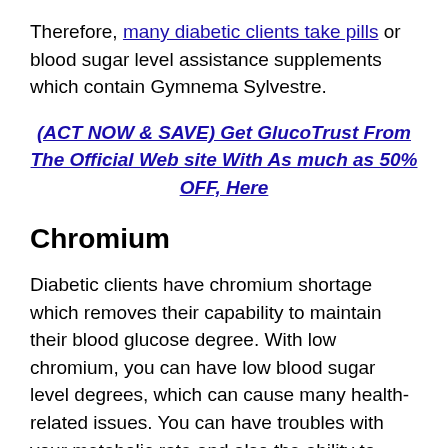Therefore, many diabetic clients take pills or blood sugar level assistance supplements which contain Gymnema Sylvestre.
(ACT NOW & SAVE) Get GlucoTrust From The Official Web site With As much as 50% OFF, Here
Chromium
Diabetic clients have chromium shortage which removes their capability to maintain their blood glucose degree. With low chromium, you can have low blood sugar level degrees, which can cause many health-related issues. You can have troubles with your metabolic rate and also the ability to burn down fat. This is why GlucoTrust includes